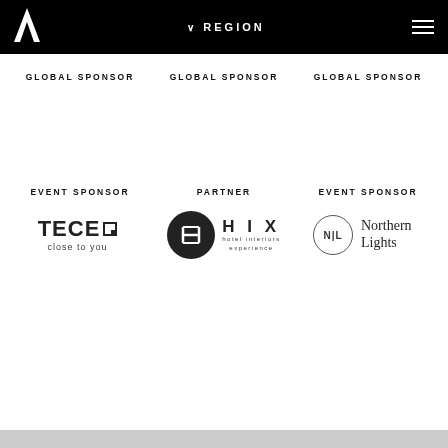REGION
GLOBAL SPONSOR   GLOBAL SPONSOR   GLOBAL SPONSOR
EVENT SPONSOR   PARTNER   EVENT SPONSOR
[Figure (logo): TECE close to you logo — bold sans-serif text with a small square mark]
[Figure (logo): HIX hotel interiors experience logo — dark circle with H mark and text]
[Figure (logo): Northern Lights logo — circle with NL initials and serif text]